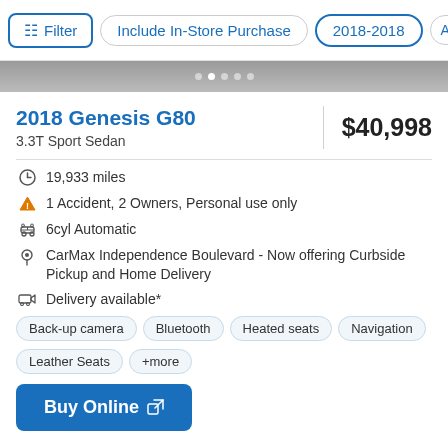Filter | Include In-Store Purchase | 2018-2018 | Al>
[Figure (photo): Partial top of car image with navigation dots below]
2018 Genesis G80
$40,998
3.3T Sport Sedan
19,933 miles
1 Accident, 2 Owners, Personal use only
6cyl Automatic
CarMax Independence Boulevard - Now offering Curbside Pickup and Home Delivery
Delivery available*
Back-up camera  Bluetooth  Heated seats  Navigation  Leather Seats  +more
Buy Online